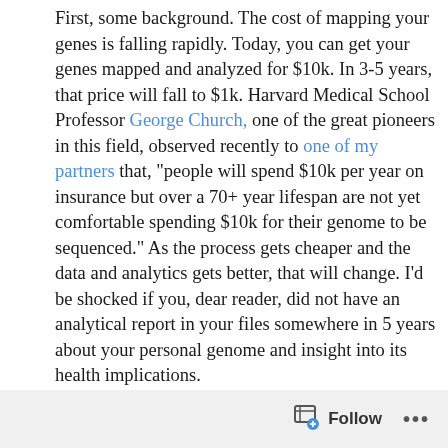First, some background. The cost of mapping your genes is falling rapidly. Today, you can get your genes mapped and analyzed for $10k. In 3-5 years, that price will fall to $1k. Harvard Medical School Professor George Church, one of the great pioneers in this field, observed recently to one of my partners that, "people will spend $10k per year on insurance but over a 70+ year lifespan are not yet comfortable spending $10k for their genome to be sequenced." As the process gets cheaper and the data and analytics gets better, that will change. I'd be shocked if you, dear reader, did not have an analytical report in your files somewhere in 5 years about your personal genome and insight into its health implications.

And that gets me to the concept of inbound marketing. Inbound Marketing (as captured nicely in the book by Dharmesh Shah and Brian Halligan), is the notion that the
Follow ...